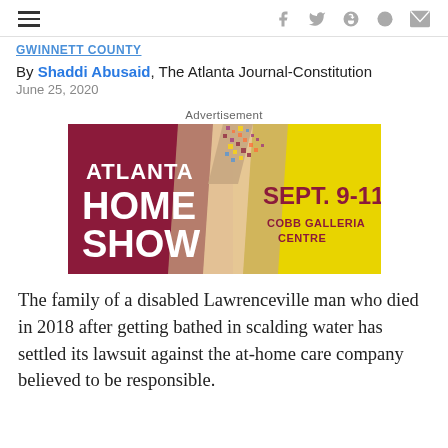≡   f  𝕎  𝕡  reddit  ✉
GWINNETT COUNTY
By Shaddi Abusaid, The Atlanta Journal-Constitution
June 25, 2020
Advertisement
[Figure (illustration): Atlanta Home Show advertisement banner. Dark red/maroon left half with white text reading 'ATLANTA HOME SHOW'. Yellow right half with dark red text reading 'SEPT. 9-11 COBB GALLERIA CENTRE'. A paint brush with colorful bristles crosses diagonally in the center.]
The family of a disabled Lawrenceville man who died in 2018 after getting bathed in scalding water has settled its lawsuit against the at-home care company believed to be responsible.